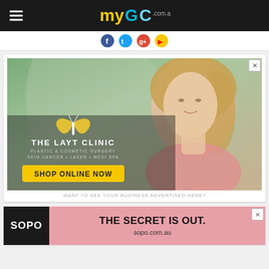myGC.com.au
[Figure (screenshot): Navigation bar with hamburger menu and myGC.com.au logo on dark background]
[Figure (photo): The Layt Clinic advertisement featuring a blonde woman, butterfly logo, text 'THE LAYT CLINIC PLASTIC & COSMETIC SURGERY SKIN CANCER + LASER + MEDI SPA' and a yellow 'SHOP ONLINE NOW' button]
WANT TO SEE YOUR BUSINESS ADVERTISED HERE?
[Figure (screenshot): SOPO advertisement banner with black left panel showing 'SOPO' text, pink background with text 'THE SECRET IS OUT.' and 'sopo.com.au']